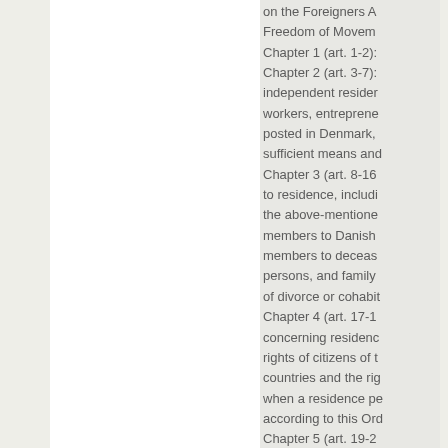on the Foreigners Act, Freedom of Movement. Chapter 1 (art. 1-2): Chapter 2 (art. 3-7): independent residence workers, entrepreneurs posted in Denmark, sufficient means and Chapter 3 (art. 8-16): to residence, including the above-mentioned members to Danish members to deceased persons, and family of divorce or cohabitation. Chapter 4 (art. 17-18): concerning residence rights of citizens of the countries and the rights when a residence permit according to this Order. Chapter 5 (art. 19-20): concerning unlimited Chapter 6 (art. 21-29): concerning required of unlimited as well as residence permits. Chapter 7 (art. 30-3...): residence permit.